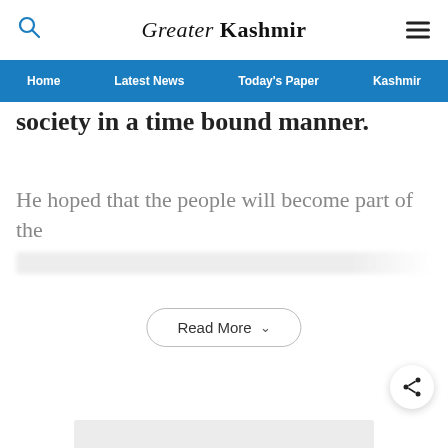Greater Kashmir
Home  Latest News  Today's Paper  Kashmir
society in a time bound manner.
He hoped that the people will become part of the
Read More
[Figure (other): Grey placeholder advertisement block]